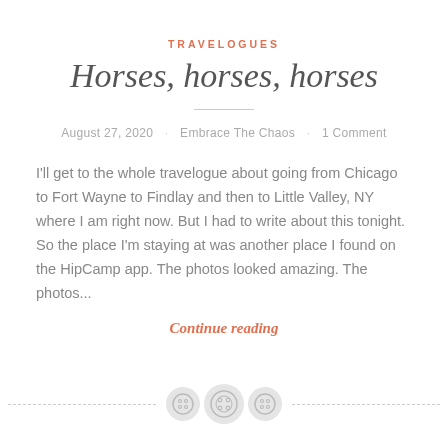TRAVELOGUES
Horses, horses, horses
August 27, 2020 · Embrace The Chaos · 1 Comment
I'll get to the whole travelogue about going from Chicago to Fort Wayne to Findlay and then to Little Valley, NY where I am right now. But I had to write about this tonight. So the place I'm staying at was another place I found on the HipCamp app. The photos looked amazing. The photos...
Continue reading